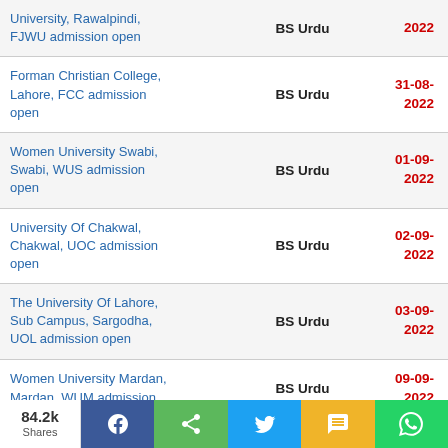| University | Program | Deadline |
| --- | --- | --- |
| University, Rawalpindi, FJWU admission open | BS Urdu | 2022 |
| Forman Christian College, Lahore, FCC admission open | BS Urdu | 31-08-2022 |
| Women University Swabi, Swabi, WUS admission open | BS Urdu | 01-09-2022 |
| University Of Chakwal, Chakwal, UOC admission open | BS Urdu | 02-09-2022 |
| The University Of Lahore, Sub Campus, Sargodha, UOL admission open | BS Urdu | 03-09-2022 |
| Women University Mardan, Mardan, WUM admission open | BS Urdu | 09-09-2022 |